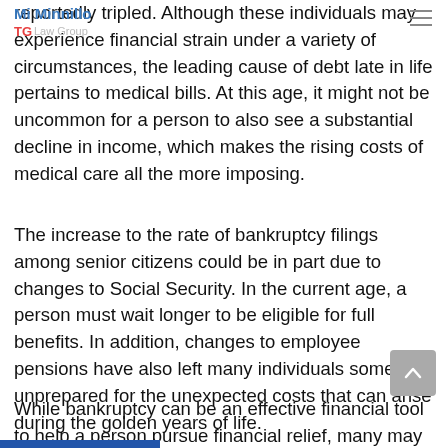Mi Minnillo TG Law Group
reportedly tripled. Although these individuals may experience financial strain under a variety of circumstances, the leading cause of debt late in life pertains to medical bills. At this age, it might not be uncommon for a person to also see a substantial decline in income, which makes the rising costs of medical care all the more imposing.
The increase to the rate of bankruptcy filings among senior citizens could be in part due to changes to Social Security. In the current age, a person must wait longer to be eligible for full benefits. In addition, changes to employee pensions have also left many individuals somewhat unprepared for the unexpected costs that can arise during the golden years of life.
While bankruptcy can be an effective financial tool to help a person pursue financial relief, many may be